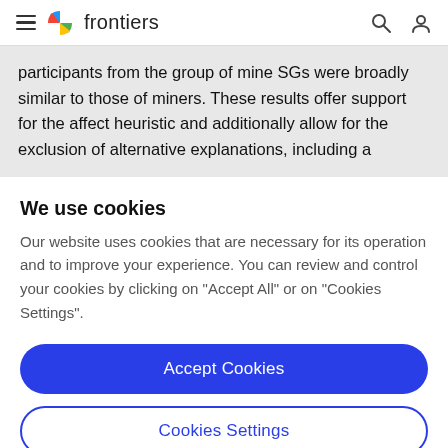frontiers
participants from the group of mine SGs were broadly similar to those of miners. These results offer support for the affect heuristic and additionally allow for the exclusion of alternative explanations, including a
We use cookies
Our website uses cookies that are necessary for its operation and to improve your experience. You can review and control your cookies by clicking on "Accept All" or on "Cookies Settings".
Accept Cookies
Cookies Settings